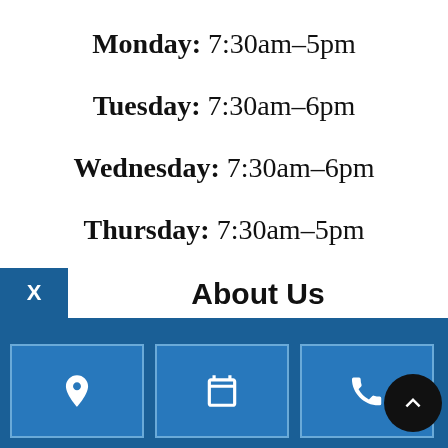Monday: 7:30am–5pm
Tuesday: 7:30am–6pm
Wednesday: 7:30am–6pm
Thursday: 7:30am–5pm
Friday: 8am–4pm
Saturday: Closed
Sunday: Closed
About Us
[Figure (infographic): Footer navigation bar with location pin icon, calendar icon, and phone icon buttons in blue, plus a dark scroll-to-top arrow button]